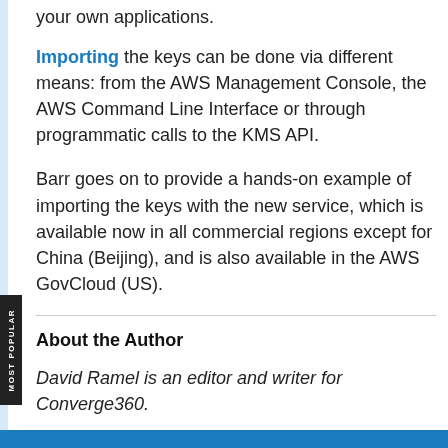your own applications.
Importing the keys can be done via different means: from the AWS Management Console, the AWS Command Line Interface or through programmatic calls to the KMS API.
Barr goes on to provide a hands-on example of importing the keys with the new service, which is available now in all commercial regions except for China (Beijing), and is also available in the AWS GovCloud (US).
About the Author
David Ramel is an editor and writer for Converge360.